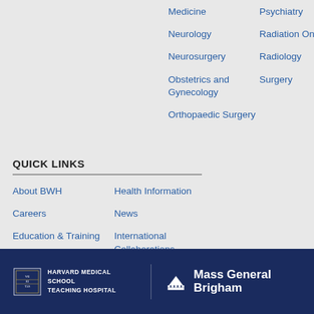Medicine
Neurology
Neurosurgery
Obstetrics and Gynecology
Orthopaedic Surgery
Psychiatry
Radiation Oncology
Radiology
Surgery
QUICK LINKS
About BWH
Careers
Education & Training
Giving
Health Information
News
International Collaborations
Services A-Z
[Figure (logo): Harvard Medical School Teaching Hospital logo and Mass General Brigham logo in dark navy footer]